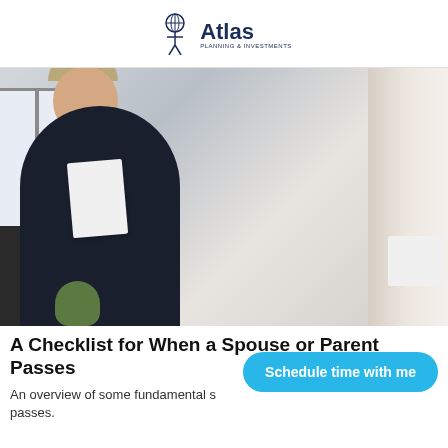Atlas Planning & Investments
[Figure (photo): Middle-aged woman with short blonde hair and glasses, wearing a dark dotted blouse, talking on a phone while reading a document, standing in an office near a window]
A Checklist for When a Spouse or Parent Passes
An overview of some fundamental steps to take when a loved one passes.
Schedule time with me